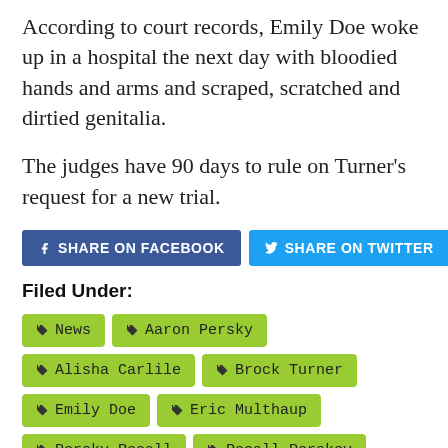According to court records, Emily Doe woke up in a hospital the next day with bloodied hands and arms and scraped, scratched and dirtied genitalia.
The judges have 90 days to rule on Turner’s request for a new trial.
[Figure (infographic): Social share buttons: Share on Facebook (blue), Share on Twitter (light blue), Email (gray)]
Filed Under:
News
Aaron Persky
Alisha Carlile
Brock Turner
Emily Doe
Eric Multhaup
Persky Recall
Recall Perskey
Santa Clara County Superior Court
Stanford University